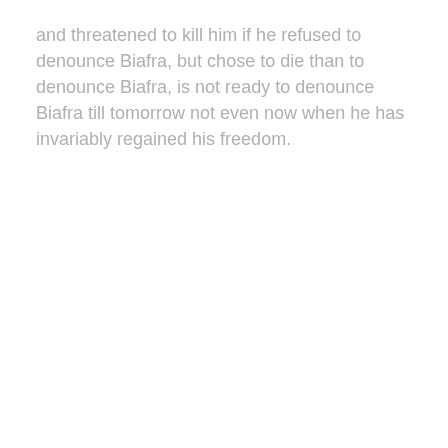and threatened to kill him if he refused to denounce Biafra, but chose to die than to denounce Biafra, is not ready to denounce Biafra till tomorrow not even now when he has invariably regained his freedom.